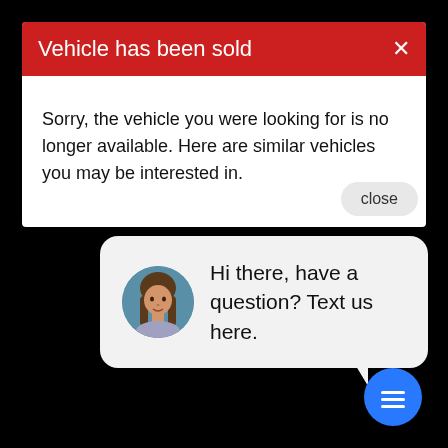Vehicle has been sold
Sorry, the vehicle you were looking for is no longer available. Here are similar vehicles you may be interested in.
[Figure (screenshot): Chat popup bubble with female avatar and text: 'Hi there, have a question? Text us here.' with a close button and blue chat icon button at bottom right.]